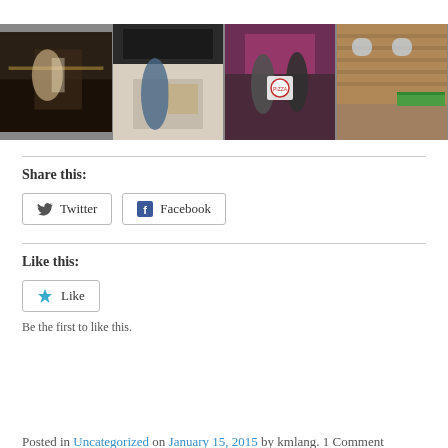[Figure (photo): A collage of four restaurant/food-related photos: a chef working at a counter, a barista at a coffee shop, two people holding a pizza box in a dining room, and the exterior of a brick building with a green awning.]
Share this:
Twitter  Facebook
Like this:
Like
Be the first to like this.
Posted in Uncategorized on January 15, 2015 by kmlang. 1 Comment